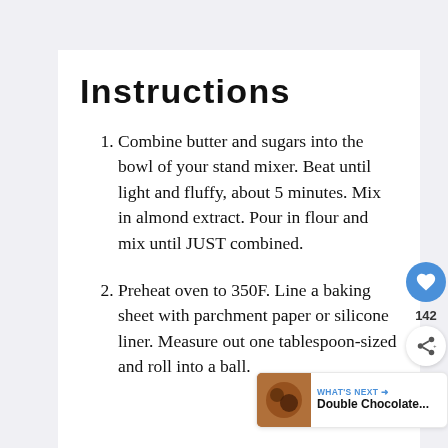Instructions
Combine butter and sugars into the bowl of your stand mixer. Beat until light and fluffy, about 5 minutes. Mix in almond extract. Pour in flour and mix until JUST combined.
Preheat oven to 350F. Line a baking sheet with parchment paper or silicone liner. Measure out one tablespoon-sized and roll into a ball.